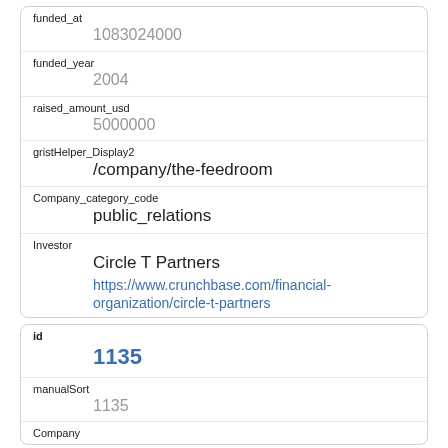| Field | Value |
| --- | --- |
| funded_at | 1083024000 |
| funded_year | 2004 |
| raised_amount_usd | 5000000 |
| gristHelper_Display2 | /company/the-feedroom |
| Company_category_code | public_relations |
| Investor | Circle T Partners
https://www.crunchbase.com/financial-organization/circle-t-partners |
| Field | Value |
| --- | --- |
| id | 1135 |
| manualSort | 1135 |
| Company |  |